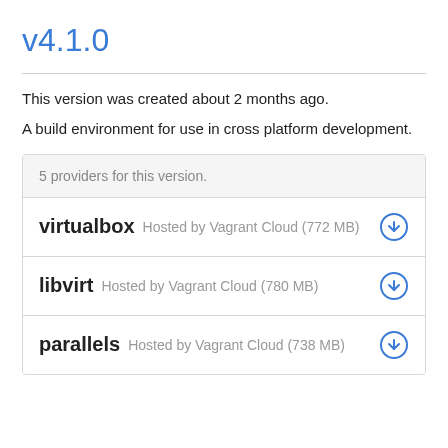v4.1.0
This version was created about 2 months ago.
A build environment for use in cross platform development.
| Provider | Info | Download |
| --- | --- | --- |
| 5 providers for this version. |  |  |
| virtualbox | Hosted by Vagrant Cloud (772 MB) | download |
| libvirt | Hosted by Vagrant Cloud (780 MB) | download |
| parallels | Hosted by Vagrant Cloud (738 MB) | download |